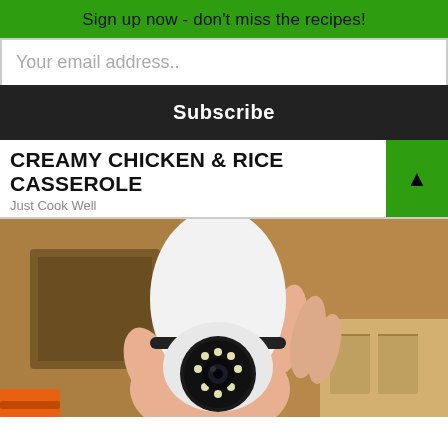Sign up now - don't miss the recipes!
Your email address..
Subscribe
CREAMY CHICKEN & RICE CASSEROLE
Just Cook Well
[Figure (photo): A hand holding a white bulb-shaped security camera with LED ring and lens, photographed against a cardboard/shelf background.]